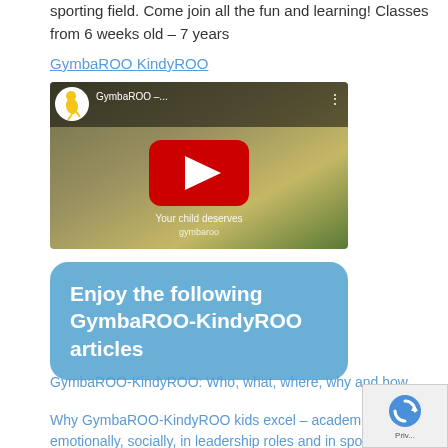sporting field. Come join all the fun and learning! Classes from 6 weeks old – 7 years
GymbaROO KindyROO
[Figure (screenshot): YouTube video thumbnail for GymbaROO with play button, kangaroo logo, and text 'Your child deserves gymbaroo']
[Figure (infographic): Blue rounded rectangle box with white bold text: Enjoy the following GymbaROO-KindyROO articles]
GymbaROO-KindyROO: Who, what, where, why and how
Why GymbaROO-KindyROO kids excel – academically, emotionally, socially, in leadership roles and in sport